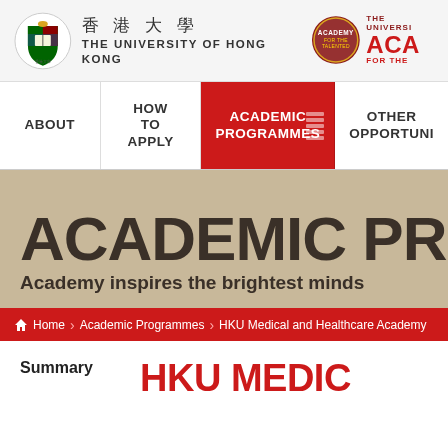[Figure (logo): HKU crest and university name logo with Chinese characters 香港大學 and THE UNIVERSITY OF HONG KONG]
[Figure (logo): Academy for the Talented circular crest logo in red with ACADEMY text]
THE UNIVERSITY OF HONG KONG | ACADEMY FOR THE
ABOUT
HOW TO APPLY
ACADEMIC PROGRAMMES
OTHER OPPORTUNI
ACADEMIC PR
Academy inspires the brightest minds
Home > Academic Programmes > HKU Medical and Healthcare Academy
Summary
HKU MEDIC